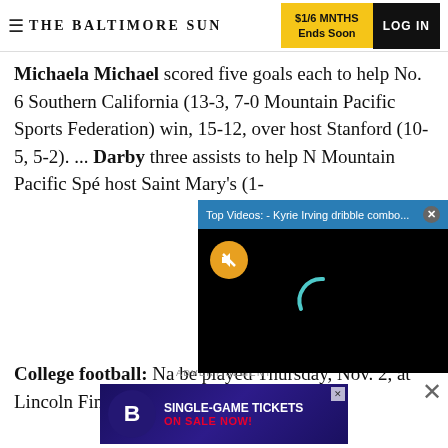THE BALTIMORE SUN | $1/6 MNTHS Ends Soon | LOG IN
Michaela Michael scored five goals each to help No. 6 Southern California (13-3, 7-0 Mountain Pacific Sports Federation) win, 15-12, over host Stanford (10-5, 5-2). ... Darby [obscured by video] three assists to help N[obscured] Mountain Pacific Spe[obscured] host Saint Mary's (1-[obscured]
[Figure (screenshot): Video popup overlay with title 'Top Videos: - Kyrie Irving dribble combo...' on a blue bar with close X button, black video screen with orange mute button and cyan loading spinner arc]
College football: Na[obscured] be played Thursday, Nov. 2, at Lincoln Financial
ADVERTISEMENT
[Figure (other): Baltimore Ravens single-game tickets advertisement banner with Ravens logo and text 'SINGLE-GAME TICKETS ON SALE NOW!']